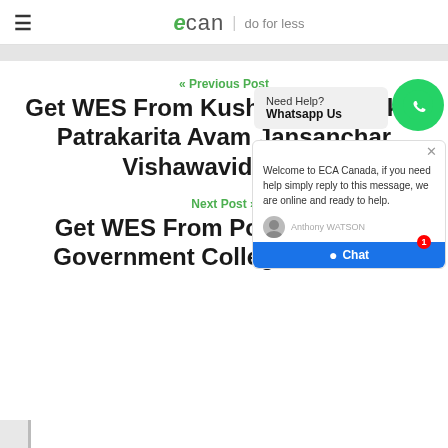eCan | do for less
« Previous Post
Get WES From Kushabmad Thakre Patrakarita Avam Jansanchar Vishawavidyalaya
Next Post »
Get WES From Post Graduate Government College For Girls
[Figure (screenshot): WhatsApp help popup with 'Need Help? Whatsapp Us' text and green WhatsApp icon button]
[Figure (screenshot): ECA Canada chat widget with agent avatar and blue Chat button with badge count 1]